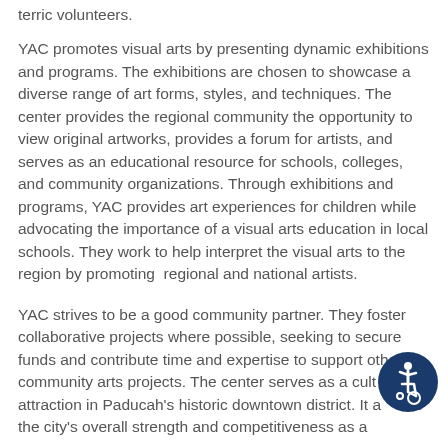terric volunteers.
YAC promotes visual arts by presenting dynamic exhibitions and programs. The exhibitions are chosen to showcase a diverse range of art forms, styles, and techniques. The center provides the regional community the opportunity to view original artworks, provides a forum for artists, and serves as an educational resource for schools, colleges, and community organizations. Through exhibitions and programs, YAC provides art experiences for children while advocating the importance of a visual arts education in local schools. They work to help interpret the visual arts to the region by promoting  regional and national artists.
YAC strives to be a good community partner. They foster collaborative projects where possible, seeking to secure funds and contribute time and expertise to support other community arts projects. The center serves as a cultural attraction in Paducah's historic downtown district. It adds to the city's overall strength and competitiveness as a...